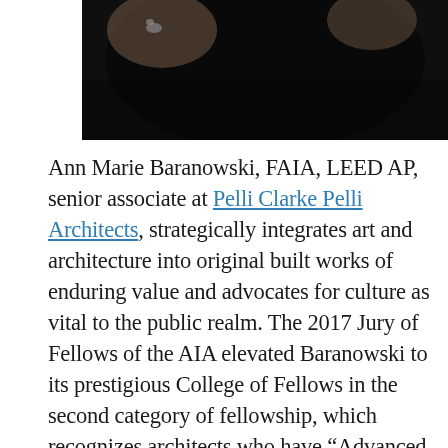[Figure (photo): Partial photo of a person wearing black clothing, showing arms/torso area cropped at the top of the page. Dark background.]
Ann Marie Baranowski, FAIA, LEED AP, senior associate at Pelli Clarke Pelli Architects, strategically integrates art and architecture into original built works of enduring value and advocates for culture as vital to the public realm. The 2017 Jury of Fellows of the AIA elevated Baranowski to its prestigious College of Fellows in the second category of fellowship, which recognizes architects who have “Advanced the science and art of planning and building by advancing the standards of architectural education, training or practice.” Now among the AIA membership’s three